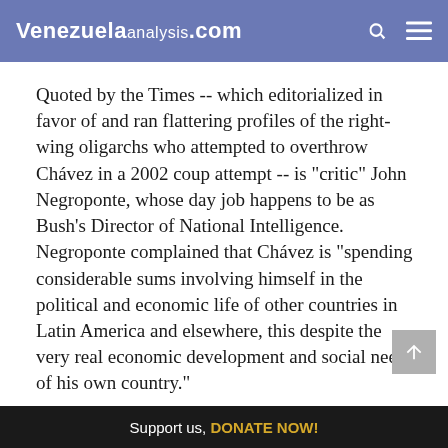Venezuelanalysis.com
Quoted by the Times -- which editorialized in favor of and ran flattering profiles of the right-wing oligarchs who attempted to overthrow Chávez in a 2002 coup attempt -- is "critic" John Negroponte, whose day job happens to be as Bush's Director of National Intelligence. Negroponte complained that Chávez is "spending considerable sums involving himself in the political and economic life of other countries in Latin America and elsewhere, this despite the very real economic development and social needs of his own country."
Support us, DONATE NOW!